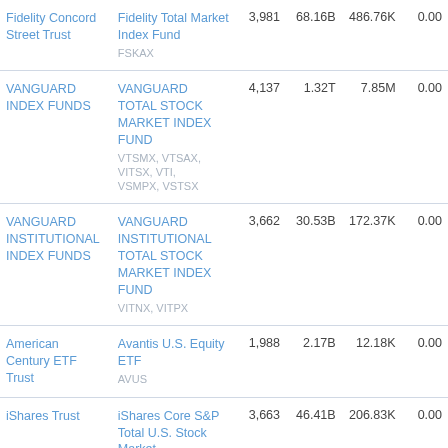| Trust | Fund | Holdings | AUM | Shareholders | Expense |
| --- | --- | --- | --- | --- | --- |
| Fidelity Concord Street Trust | Fidelity Total Market Index Fund FSKAX | 3,981 | 68.16B | 486.76K | 0.00 |
| VANGUARD INDEX FUNDS | VANGUARD TOTAL STOCK MARKET INDEX FUND VTSMX, VTSAX, VITSX, VTI, VSMPX, VSTSX | 4,137 | 1.32T | 7.85M | 0.00 |
| VANGUARD INSTITUTIONAL INDEX FUNDS | VANGUARD INSTITUTIONAL TOTAL STOCK MARKET INDEX FUND VITNX, VITPX | 3,662 | 30.53B | 172.37K | 0.00 |
| American Century ETF Trust | Avantis U.S. Equity ETF AVUS | 1,988 | 2.17B | 12.18K | 0.00 |
| iShares Trust | iShares Core S&P Total U.S. Stock Market | 3,663 | 46.41B | 206.83K | 0.00 |